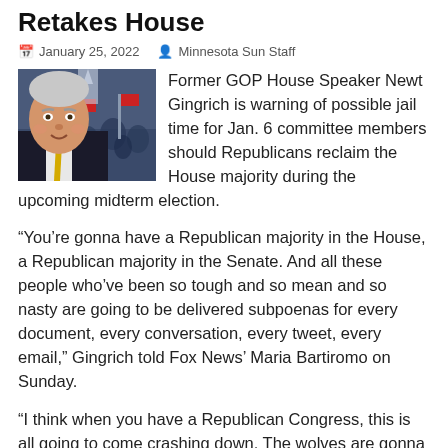Retakes House
January 25, 2022  Minnesota Sun Staff
[Figure (photo): Photo of Newt Gingrich with a crowd scene in the background]
Former GOP House Speaker Newt Gingrich is warning of possible jail time for Jan. 6 committee members should Republicans reclaim the House majority during the upcoming midterm election.
“You’re gonna have a Republican majority in the House, a Republican majority in the Senate. And all these people who’ve been so tough and so mean and so nasty are going to be delivered subpoenas for every document, every conversation, every tweet, every email,” Gingrich told Fox News’ Maria Bartiromo on Sunday.
“I think when you have a Republican Congress, this is all going to come crashing down. The wolves are gonna find out they’re now sheep, and they’re the ones who are, in fact, I think, going to face a real risk of going to jail for the kind of laws that they’re